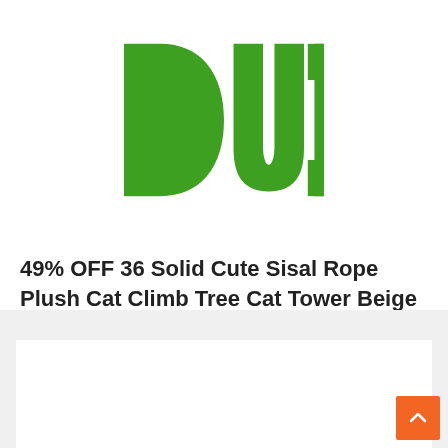[Figure (logo): Partial green logo showing letters 'DUI' in bold green on white background]
49% OFF 36 Solid Cute Sisal Rope Plush Cat Climb Tree Cat Tower Beige $24.99"